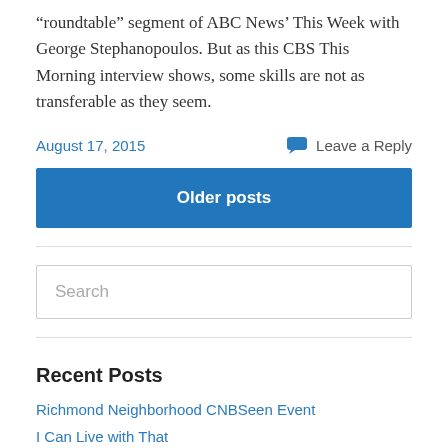“roundtable” segment of ABC News’ This Week with George Stephanopoulos. But as this CBS This Morning interview shows, some skills are not as transferable as they seem.
August 17, 2015    💬 Leave a Reply
Older posts
Search
Recent Posts
Richmond Neighborhood CNBSeen Event
I Can Live with That